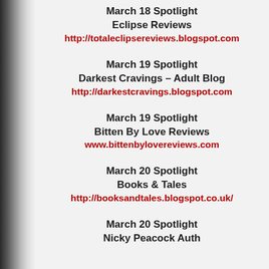March 18 Spotlight
Eclipse Reviews
http://totaleclipsereviews.blogspot.com
March 19 Spotlight
Darkest Cravings – Adult Blog
http://darkestcravings.blogspot.com
March 19 Spotlight
Bitten By Love Reviews
www.bittenbylovereviews.com
March 20 Spotlight
Books & Tales
http://booksandtales.blogspot.co.uk/
March 20 Spotlight
Nicky Peacock Author